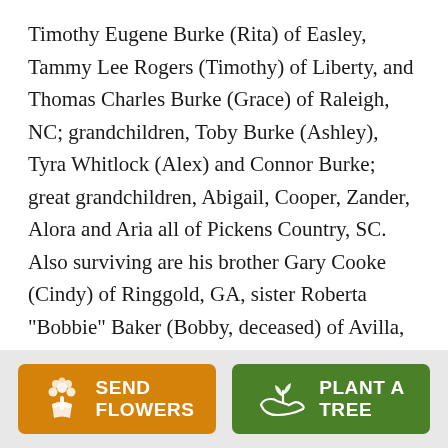Timothy Eugene Burke (Rita) of Easley, Tammy Lee Rogers (Timothy) of Liberty, and Thomas Charles Burke (Grace) of Raleigh, NC; grandchildren, Toby Burke (Ashley), Tyra Whitlock (Alex) and Connor Burke; great grandchildren, Abigail, Cooper, Zander, Alora and Aria all of Pickens Country, SC. Also surviving are his brother Gary Cooke (Cindy) of Ringgold, GA, sister Roberta "Bobbie" Baker (Bobby, deceased) of Avilla, IN, sister-in-law Doris Keller (Jim) of Monroe, NC. He was also brother-in-law to the late Wilton and Joyce Browning of Kernersville,
[Figure (other): Two buttons at the bottom: orange 'SEND FLOWERS' button with flower bouquet icon, and green 'PLANT A TREE' button with seedling icon]